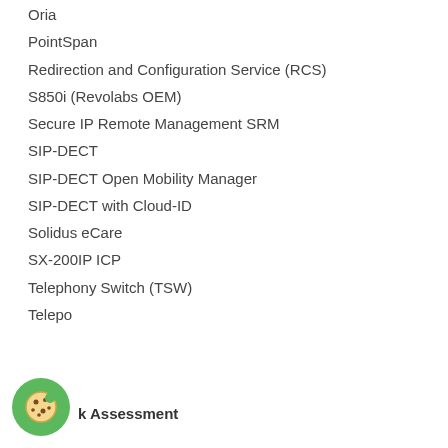Oria
PointSpan
Redirection and Configuration Service (RCS)
S850i (Revolabs OEM)
Secure IP Remote Management SRM
SIP-DECT
SIP-DECT Open Mobility Manager
SIP-DECT with Cloud-ID
Solidus eCare
SX-200IP ICP
Telephony Switch (TSW)
Telepo
k Assessment